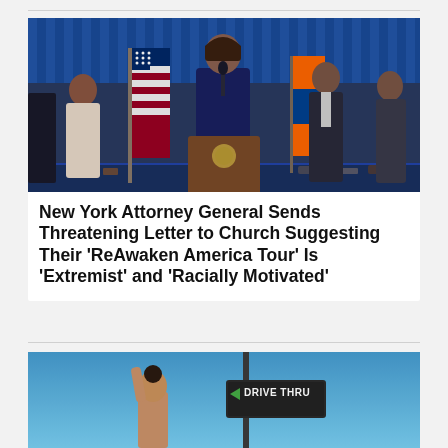[Figure (photo): New York Attorney General Letitia James standing at an official podium with seal, flanked by officials, with American flags and evidence table visible in background.]
New York Attorney General Sends Threatening Letter to Church Suggesting Their 'ReAwaken America Tour' Is 'Extremist' and 'Racially Motivated'
[Figure (photo): Person raising arm near a Drive Thru sign against a blue sky background.]